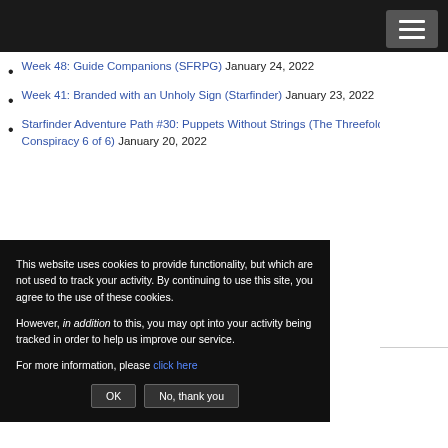Navigation menu header bar
Week 48: Guide Companions (SFRPG) January 24, 2022
Week 41: Branded with an Unholy Sign (Starfinder) January 23, 2022
Starfinder Adventure Path #30: Puppets Without Strings (The Threefold Conspiracy 6 of 6) January 20, 2022
This website uses cookies to provide functionality, but which are not used to track your activity. By continuing to use this site, you agree to the use of these cookies.

However, in addition to this, you may opt into your activity being tracked in order to help us improve our service.

For more information, please click here
OK  No, thank you